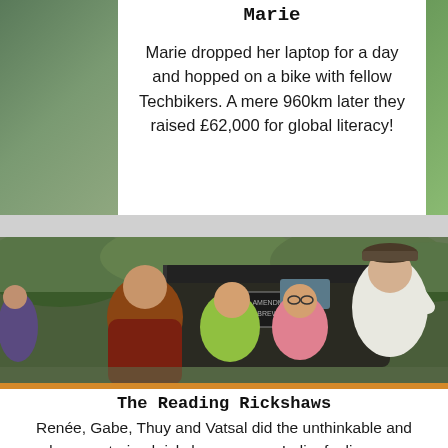Marie
Marie dropped her laptop for a day and hopped on a bike with fellow Techbikers. A mere 960km later they raised £62,000 for global literacy!
[Figure (photo): Group photo of four people standing in front of a motorized rickshaw, outdoors in what appears to be India. There is a man in a red/maroon shirt on the left, a woman in green in the center-left, a woman in pink in the center-right, and a man in a white shirt on the right. A vehicle with a rack on top is visible behind them.]
The Reading Rickshaws
Renée, Gabe, Thuy and Vatsal did the unthinkable and drove motorized rickshaws across India, fueling over $13,000 for students in Asia and Africa!